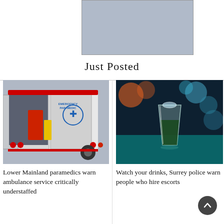[Figure (other): Grey/blue placeholder advertisement rectangle at top of page]
Just Posted
[Figure (photo): Rear view of a white emergency paramedic ambulance with open doors, red and yellow equipment visible inside, parked on a street.]
Lower Mainland paramedics warn ambulance service critically understaffed
[Figure (photo): A shot glass filled with dark green liquid on a blue-lit bar surface, with bokeh lights in the background.]
Watch your drinks, Surrey police warn people who hire escorts